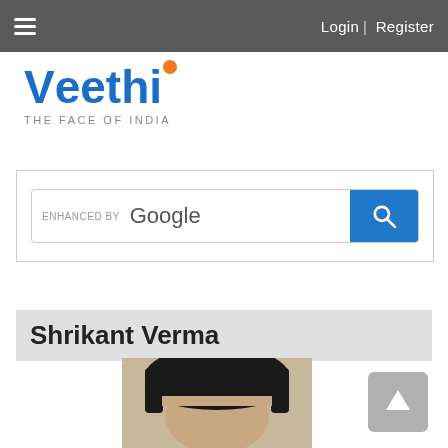Login | Register
[Figure (logo): Veethi logo with orange dot above 'i', tagline 'The Face of India']
[Figure (screenshot): Google enhanced search box with blue search button]
Shrikant Verma
[Figure (photo): Profile photo of Shrikant Verma, head and shoulders, dark hair]